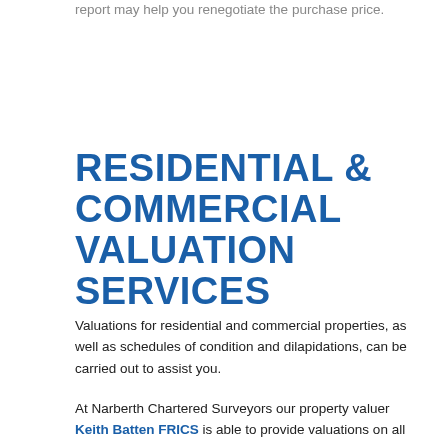report may help you renegotiate the purchase price.
RESIDENTIAL & COMMERCIAL VALUATION SERVICES
Valuations for residential and commercial properties, as well as schedules of condition and dilapidations, can be carried out to assist you.
At Narberth Chartered Surveyors our property valuer Keith Batten FRICS is able to provide valuations on all